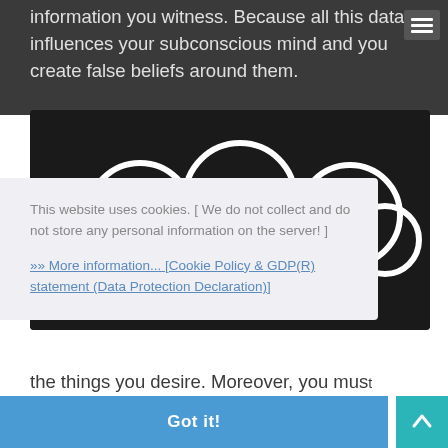information you witness. Because all this data influences your subconscious mind and you create false beliefs around them.
[Figure (illustration): Dark chalkboard-style image with white cloud outlines and the word MINDSET partially visible at the bottom]
This website uses cookies. [ We do not collect and do not store any personal information on the server! ]
»» More information... [Cookie Policy & GDP(R) statement (Data Protection Declaration)]
Got it!
the things you desire. Moreover, you must